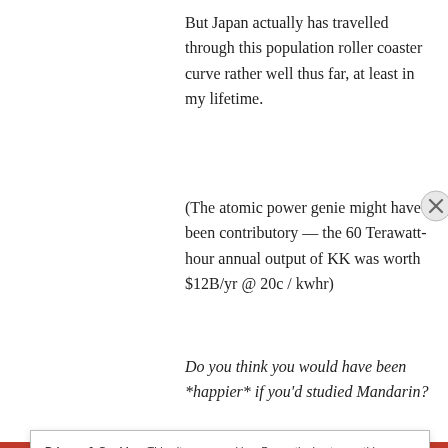But Japan actually has travelled through this population roller coaster curve rather well thus far, at least in my lifetime.
(The atomic power genie might have been contributory — the 60 Terawatt-hour annual output of KK was worth $12B/yr @ 20c / kwhr)
Do you think you would have been *happier* if you'd studied Mandarin?
I appreciate societies that Have Their S—
Privacy & Cookies: This site uses cookies. By continuing to use this website, you agree to their use.
To find out more, including how to control cookies, see here: Cookie Policy